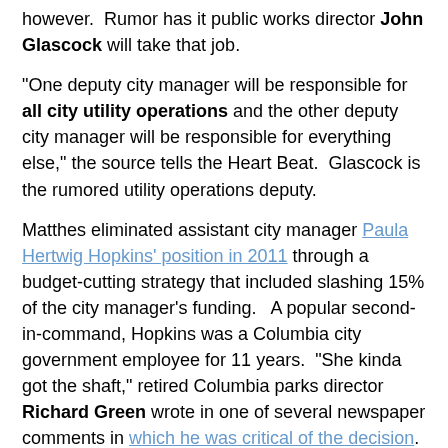however.  Rumor has it public works director John Glascock will take that job.
"One deputy city manager will be responsible for all city utility operations and the other deputy city manager will be responsible for everything else," the source tells the Heart Beat.  Glascock is the rumored utility operations deputy.
Matthes eliminated assistant city manager Paula Hertwig Hopkins' position in 2011 through a budget-cutting strategy that included slashing 15% of the city manager's funding.   A popular second-in-command, Hopkins was a Columbia city government employee for 11 years.  "She kinda got the shaft," retired Columbia parks director Richard Green wrote in one of several newspaper comments in which he was critical of the decision.
Upon eliminating Hopkins' position, Matthes promoted then assistant city manager Tony St. Romaine into the newly created position of "deputy city manager."  Matthes has worked with a single deputy since.